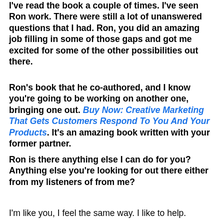I've read the book a couple of times. I've seen Ron work. There were still a lot of unanswered questions that I had. Ron, you did an amazing job filling in some of those gaps and got me excited for some of the other possibilities out there.
Ron's book that he co-authored, and I know you're going to be working on another one, bringing one out. Buy Now: Creative Marketing That Gets Customers Respond To You And Your Products. It's an amazing book written with your former partner.
Ron is there anything else I can do for you? Anything else you're looking for out there either from my listeners of from me?
I'm like you, I feel the same way. I like to help.